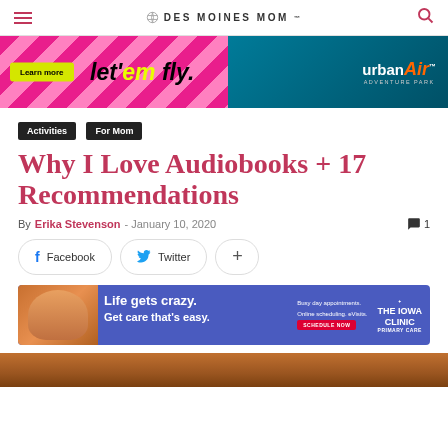DES MOINES MOM
[Figure (infographic): Urban Air Adventure Park ad banner with pink diagonal stripes, 'Learn more' yellow button, 'let'em fly.' text, and Urban Air logo on teal background]
Activities
For Mom
Why I Love Audiobooks + 17 Recommendations
By Erika Stevenson - January 10, 2020  💬 1
Facebook   Twitter   +
[Figure (infographic): The Iowa Clinic Primary Care ad: 'Life gets crazy. Get care that's easy.' with scheduling information and clinic logo on blue/purple background]
[Figure (photo): Bottom partial photo strip showing warm brown/orange tones, partial view of a person]